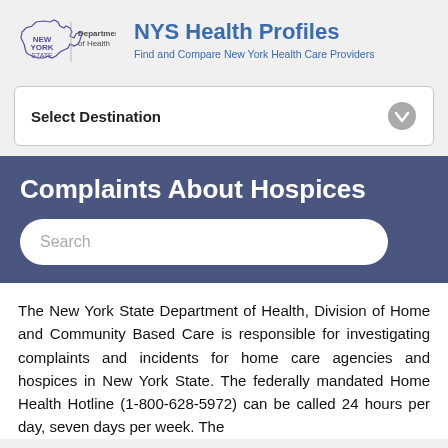[Figure (logo): New York State Department of Health logo with state outline and text]
NYS Health Profiles
Find and Compare New York Health Care Providers
Select Destination
Complaints About Hospices
The New York State Department of Health, Division of Home and Community Based Care is responsible for investigating complaints and incidents for home care agencies and hospices in New York State. The federally mandated Home Health Hotline (1-800-628-5972) can be called 24 hours per day, seven days per week. The